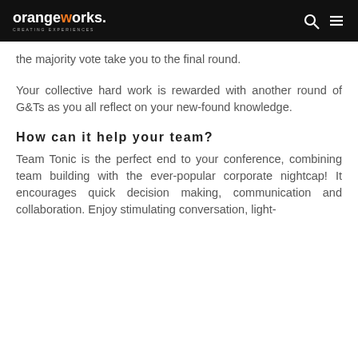orangeworks. CREATING EXPERIENCES
the majority vote take you to the final round.
Your collective hard work is rewarded with another round of G&Ts as you all reflect on your new-found knowledge.
How can it help your team?
Team Tonic is the perfect end to your conference, combining team building with the ever-popular corporate nightcap! It encourages quick decision making, communication and collaboration. Enjoy stimulating conversation, light-